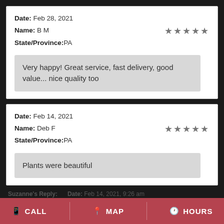Date: Feb 28, 2021
Name: B M
State/Province: PA
★★★★★
Very happy! Great service, fast delivery, good value... nice quality too
Date: Feb 14, 2021
Name: Deb F
State/Province: PA
★★★★★
Plants were beautiful
Suzanne's Reply: Date: Feb 14, 2021, 9:26 am
CALL  MAP  HOURS